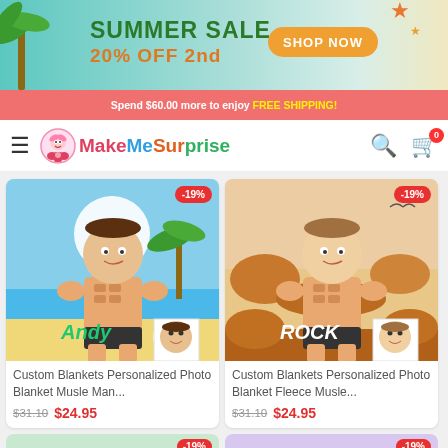[Figure (screenshot): Summer Sale banner: SUMMER SALE 20% OFF 2nd with SHOP NOW button and palm tree decorations]
Spend $60.00 more to enjoy FREE SHIPPING!
[Figure (logo): MakeMeSurprise logo with cartoon character]
[Figure (photo): Custom Blankets Personalized Photo Blanket Musle Man beach themed with caricature face, name Andy, -19% discount]
Custom Blankets Personalized Photo Blanket Musle Man...
$31.10 $24.95
[Figure (photo): Custom Blankets Personalized Photo Blanket Fleece Musle desert themed with caricature face, name Rock, -19% discount]
Custom Blankets Personalized Photo Blanket Fleece Musle...
$31.10 $24.95